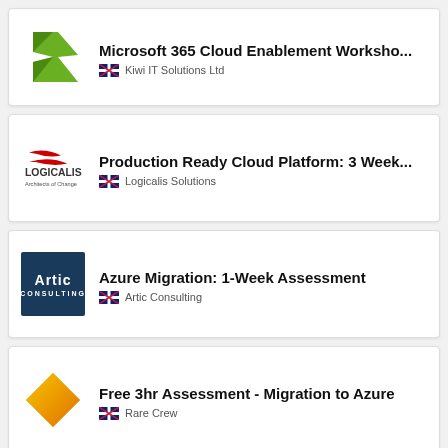[Figure (logo): Kiwi IT Solutions Ltd logo - green K shape]
Microsoft 365 Cloud Enablement Worksho...
🇳🇿 Kiwi IT Solutions Ltd
[Figure (logo): Logicalis logo - red swoosh with Logicalis text]
Production Ready Cloud Platform: 3 Week...
🇳🇿 Logicalis Solutions
[Figure (logo): Artic Consulting logo - dark blue square with white text]
Azure Migration: 1-Week Assessment
🇳🇿 Artic Consulting
[Figure (logo): Rare Crew logo - orange diamond shape]
Free 3hr Assessment - Migration to Azure
🇳🇿 Rare Crew
[Figure (logo): Partial red logo for last card]
2 hour - Cloud Adoption Introductory...